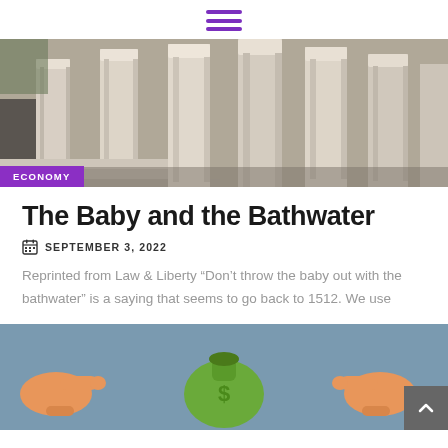[Figure (illustration): Hamburger menu icon — three horizontal purple bars]
[Figure (photo): Close-up photograph of classical marble columns with an 'ECONOMY' badge in purple overlay at bottom left]
The Baby and the Bathwater
SEPTEMBER 3, 2022
Reprinted from Law & Liberty “Don’t throw the baby out with the bathwater” is a saying that seems to go back to 1512. We use
[Figure (illustration): Cartoon illustration of hands pointing at a green money bag, on a blue-grey background]